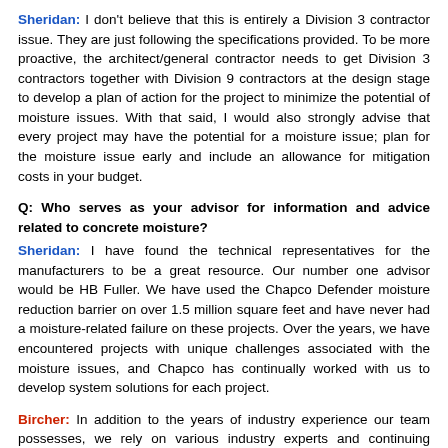Sheridan: I don't believe that this is entirely a Division 3 contractor issue. They are just following the specifications provided. To be more proactive, the architect/general contractor needs to get Division 3 contractors together with Division 9 contractors at the design stage to develop a plan of action for the project to minimize the potential of moisture issues. With that said, I would also strongly advise that every project may have the potential for a moisture issue; plan for the moisture issue early and include an allowance for mitigation costs in your budget.
Q: Who serves as your advisor for information and advice related to concrete moisture?
Sheridan: I have found the technical representatives for the manufacturers to be a great resource. Our number one advisor would be HB Fuller. We have used the Chapco Defender moisture reduction barrier on over 1.5 million square feet and have never had a moisture-related failure on these projects. Over the years, we have encountered projects with unique challenges associated with the moisture issues, and Chapco has continually worked with us to develop system solutions for each project.
Bircher: In addition to the years of industry experience our team possesses, we rely on various industry experts and continuing education. Some of the best resources we have include consultants from Fuse Alliance and the International Concrete Repair Institute. We also depend on manufacturers to clearly explain and document the